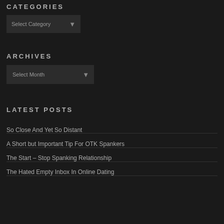CATEGORIES
[Figure (other): Select Category dropdown box]
ARCHIVES
[Figure (other): Select Month dropdown box]
LATEST POSTS
So Close And Yet So Distant
A Short but Important Tip For OTK Spankers
The Start – Stop Spanking Relationship
The Hated Empty Inbox In Online Dating